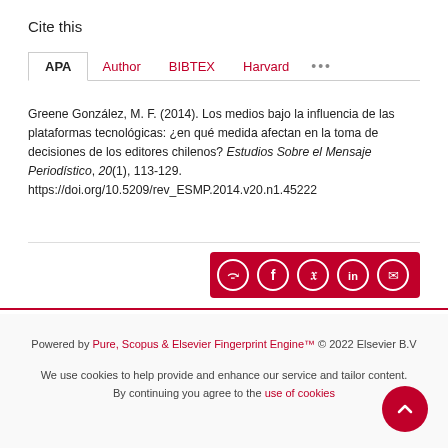Cite this
APA  Author  BIBTEX  Harvard  ...
Greene González, M. F. (2014). Los medios bajo la influencia de las plataformas tecnológicas: ¿en qué medida afectan en la toma de decisiones de los editores chilenos? Estudios Sobre el Mensaje Periodistico, 20(1), 113-129. https://doi.org/10.5209/rev_ESMP.2014.v20.n1.45222
[Figure (infographic): Share buttons bar in dark red with icons for share, Facebook, Twitter, LinkedIn, and email]
Powered by Pure, Scopus & Elsevier Fingerprint Engine™ © 2022 Elsevier B.V
We use cookies to help provide and enhance our service and tailor content. By continuing you agree to the use of cookies